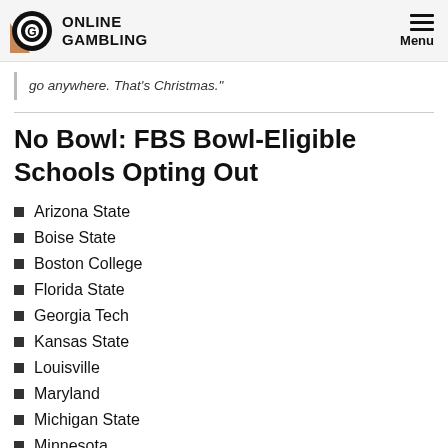Online Gambling | Menu
go anywhere. That's Christmas."
No Bowl: FBS Bowl-Eligible Schools Opting Out
Arizona State
Boise State
Boston College
Florida State
Georgia Tech
Kansas State
Louisville
Maryland
Michigan State
Minnesota